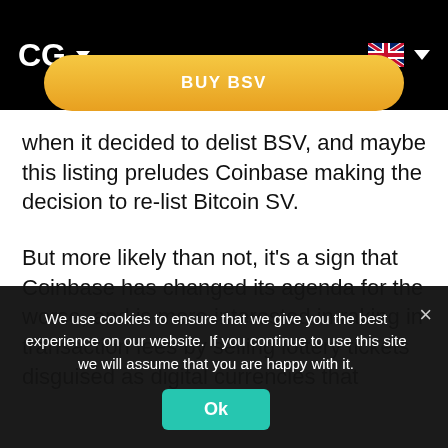CG ▾
[Figure (other): Yellow rounded button labeled BUY BSV]
when it decided to delist BSV, and maybe this listing preludes Coinbase making the decision to re-list Bitcoin SV.
But more likely than not, it's a sign that Coinbase has changed its agenda for the worse, and is more interested in raking in transaction fees by selling lottery tickets disguised as digital currencies that
We use cookies to ensure that we give you the best experience on our website. If you continue to use this site we will assume that you are happy with it.
[Figure (other): Teal/green OK button]